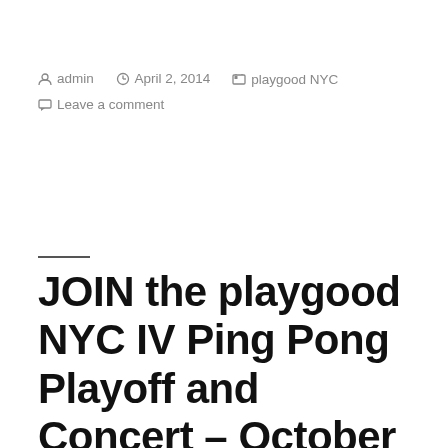admin  April 2, 2014  playgood NYC  Leave a comment
JOIN the playgood NYC IV Ping Pong Playoff and Concert – October 20th